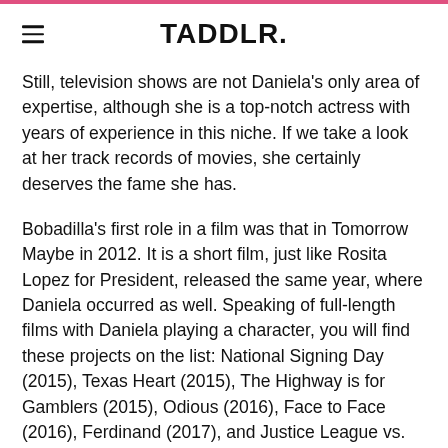TADDLR.
Still, television shows are not Daniela's only area of expertise, although she is a top-notch actress with years of experience in this niche. If we take a look at her track records of movies, she certainly deserves the fame she has.
Bobadilla's first role in a film was that in Tomorrow Maybe in 2012. It is a short film, just like Rosita Lopez for President, released the same year, where Daniela occurred as well. Speaking of full-length films with Daniela playing a character, you will find these projects on the list: National Signing Day (2015), Texas Heart (2015), The Highway is for Gamblers (2015), Odious (2016), Face to Face (2016), Ferdinand (2017), and Justice League vs. the Fatal Five (2019). In the last two movies, Bobadilla had a voice r and the viewers had the chance to enjoy her smooth voice